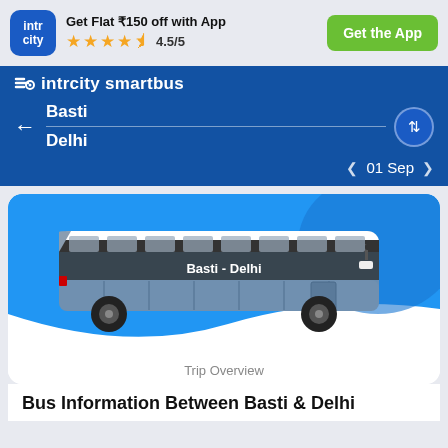Get Flat ₹150 off with App ★★★★½ 4.5/5 | Get the App
intrcity smartbus
Basti
Delhi
< 01 Sep >
[Figure (illustration): Illustration of a blue and white intercity bus with 'Basti - Delhi' written on its side, on a blue curved background]
Trip Overview
Bus Information Between Basti & Delhi